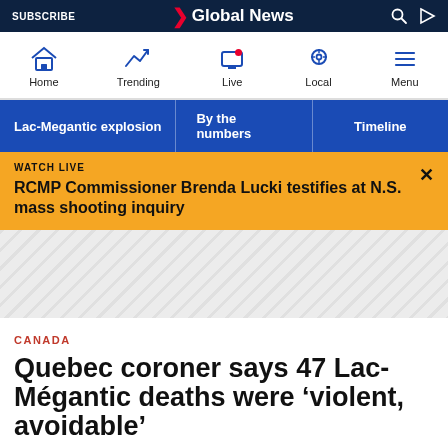SUBSCRIBE | Global News
Home | Trending | Live | Local | Menu
Lac-Megantic explosion | By the numbers | Timeline
WATCH LIVE
RCMP Commissioner Brenda Lucki testifies at N.S. mass shooting inquiry
CANADA
Quebec coroner says 47 Lac-Mégantic deaths were ‘violent, avoidable’